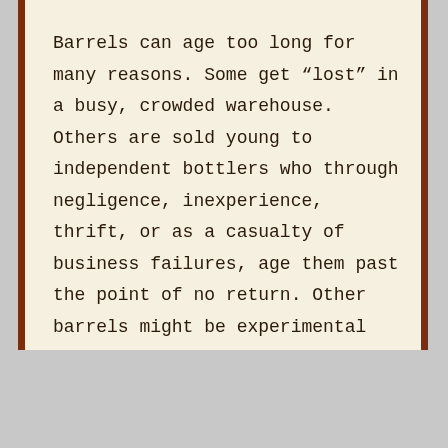Barrels can age too long for many reasons. Some get “lost” in a busy, crowded warehouse. Others are sold young to independent bottlers who through negligence, inexperience, thrift, or as a casualty of business failures, age them past the point of no return. Other barrels might be experimental (at some point you have to give up on that alligator-charred-stave reconstruction of a barrel recovered from the shipwreck of the HMS Admiral Gardner) or an attempt to repair whisky damaged by bad wood. These barrels can